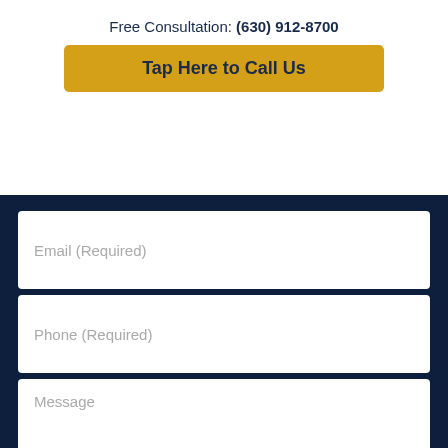Free Consultation: (630) 912-8700
Tap Here to Call Us
Email (Required)
Phone (Required)
Message
CONTACT US NOW